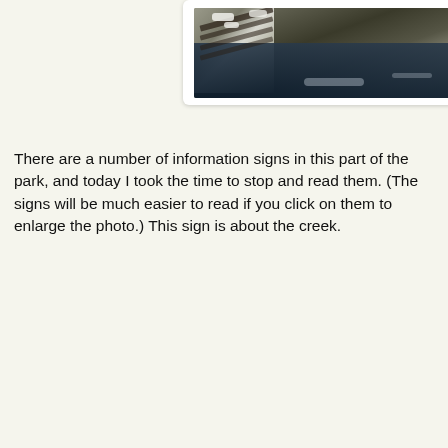[Figure (photo): Photograph of Geyser Creek with snow-covered rocks on the left and dark flowing water on the right, taken in winter.]
There are a number of information signs in this part of the park, and today I took the time to stop and read them. (The signs will be much easier to read if you click on them to enlarge the photo.) This sign is about the creek.
[Figure (photo): Photograph of an informational park sign titled 'Get to Know Geyser Creek' with a dark red background, featuring images of the creek and illustrations of insects. Saratoga Spa State Park sign at the bottom.]